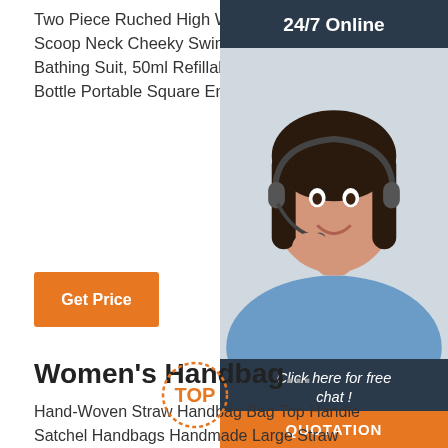Two Piece Ruched High Waist Bikini Scoop Neck Cheeky Swimsuit Solid Color Bathing Suit, 50ml Refillable Perfume Bottle Portable Square Empty …
Get Price
[Figure (photo): 24/7 Online customer service representative - a woman with headset smiling, with dark header '24/7 Online', dark footer 'Click here for free chat!' and orange QUOTATION button]
Women's Handbag
Hand-Woven Straw Handbag Bag Top Handle Satchel Handbags Handmade Large Straw Tote Bag Summer Beach Bag Shoulder Bag for Women. 3.9 out of 5 stars 39. $36.66 $ 36. 66. FREE Shipping +3. Vorspack Clear Crossbody Purse Stadium Approved